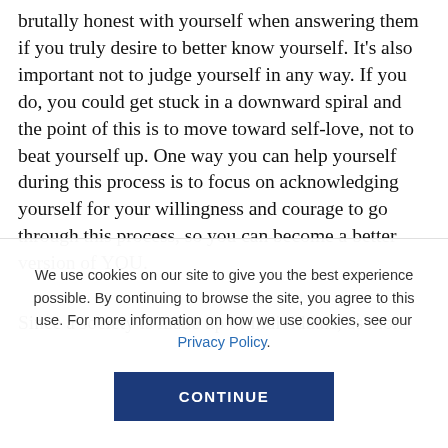brutally honest with yourself when answering them if you truly desire to better know yourself. It's also important not to judge yourself in any way. If you do, you could get stuck in a downward spiral and the point of this is to move toward self-love, not to beat yourself up. One way you can help yourself during this process is to focus on acknowledging yourself for your willingness and courage to go through this process, so you can become a better version of YOU.
Since a society is made up of individuals, as more and
We use cookies on our site to give you the best experience possible. By continuing to browse the site, you agree to this use. For more information on how we use cookies, see our Privacy Policy.